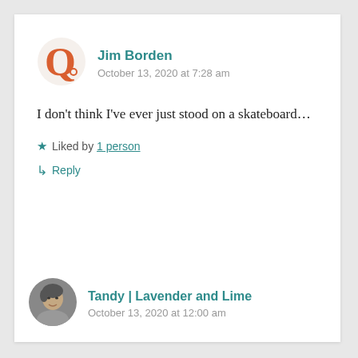[Figure (logo): Quora logo avatar in orange/red color for user Jim Borden]
Jim Borden
October 13, 2020 at 7:28 am
I don't think I've ever just stood on a skateboard…
★ Liked by 1 person
↳ Reply
[Figure (photo): Small circular profile photo of a woman with short dark hair]
Tandy | Lavender and Lime
October 13, 2020 at 12:00 am